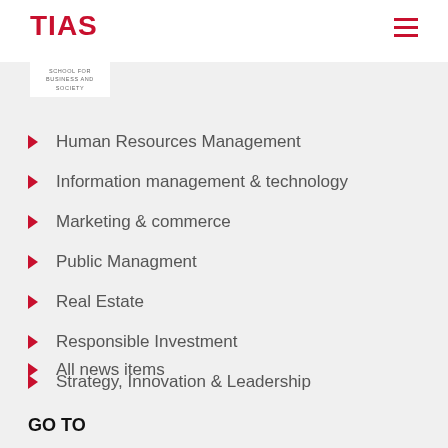TIAS
[Figure (logo): TIAS School for Business and Society logo]
Human Resources Management
Information management & technology
Marketing & commerce
Public Managment
Real Estate
Responsible Investment
Strategy, Innovation & Leadership
All news items
GO TO